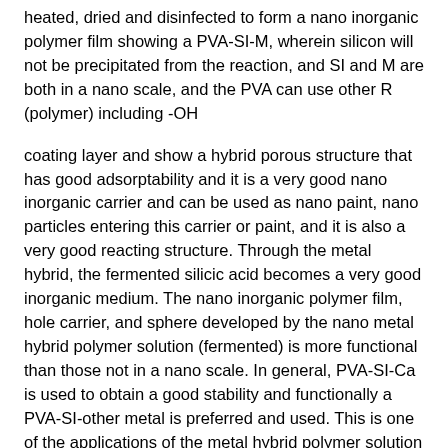heated, dried and disinfected to form a nano inorganic polymer film showing a PVA-SI-M, wherein silicon will not be precipitated from the reaction, and SI and M are both in a nano scale, and the PVA can use other R (polymer) including -OH
coating layer and show a hybrid porous structure that has good adsorptability and it is a very good nano inorganic carrier and can be used as nano paint, nano particles entering this carrier or paint, and it is also a very good reacting structure. Through the metal hybrid, the fermented silicic acid becomes a very good inorganic medium. The nano inorganic polymer film, hole carrier, and sphere developed by the nano metal hybrid polymer solution (fermented) is more functional than those not in a nano scale. In general, PVA-SI-Ca is used to obtain a good stability and functionally a PVA-SI-other metal is preferred and used. This is one of the applications of the metal hybrid polymer solution used for nano inorganic matters. In a method of using a dry protein enzyme to improve the activity, general bacteria and enzymes are in the